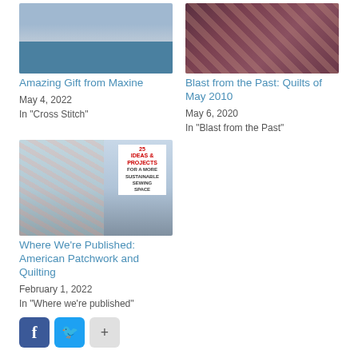[Figure (photo): Photo of a brick building exterior with blue ground/pavement visible]
Amazing Gift from Maxine
May 4, 2022
In "Cross Stitch"
[Figure (photo): Photo of a colorful quilt spread on a bed]
Blast from the Past: Quilts of May 2010
May 6, 2020
In "Blast from the Past"
[Figure (photo): Photo of American Patchwork and Quilting magazine cover showing a colorful quilt]
Where We're Published: American Patchwork and Quilting
February 1, 2022
In "Where we're published"
[Figure (other): Social media sharing buttons: Facebook, Twitter, Share]